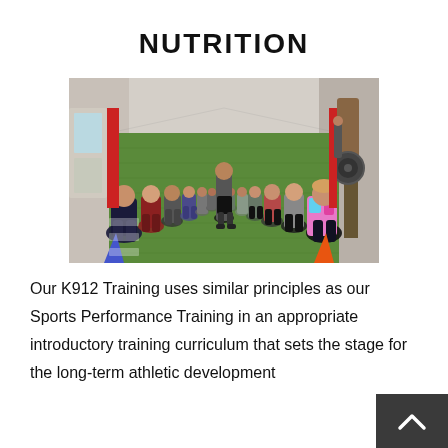NUTRITION
[Figure (photo): A group fitness class in a gym with green turf flooring. Participants on both sides of the room are in a squat position facing each other, with a trainer standing in the middle. Orange and blue cones are visible on the floor. Exercise equipment lines the walls.]
Our K912 Training uses similar principles as our Sports Performance Training in an appropriate introductory training curriculum that sets the stage for the long-term athletic development